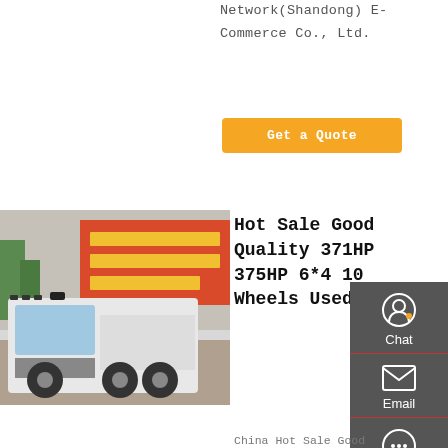Network(Shandong) E-Commerce Co., Ltd.
Get a Quote
[Figure (photo): White HOWO heavy-duty truck/tractor unit parked in front of a colorful banner with Chinese text]
Hot Sale Good Quality 371HP 375HP 6*4 10 Wheels Used …
China Hot Sale Good Quality 371HP 375HP 6*4 10 Wheels Used HOWO Dump Truck Tipper Truck for African Market, Find details about China Used Trucks, Used HOWO Dump
Chat
Email
Contact
Top